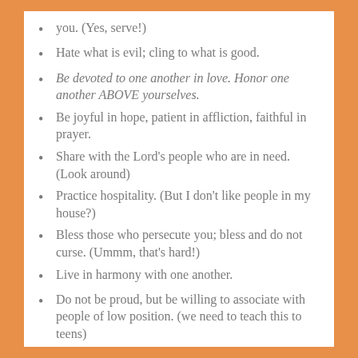you. (Yes, serve!)
Hate what is evil; cling to what is good.
Be devoted to one another in love. Honor one another ABOVE yourselves.
Be joyful in hope, patient in affliction, faithful in prayer.
Share with the Lord's people who are in need. (Look around)
Practice hospitality. (But I don't like people in my house?)
Bless those who persecute you; bless and do not curse. (Ummm, that's hard!)
Live in harmony with one another.
Do not be proud, but be willing to associate with people of low position. (we need to teach this to teens)
Do not be conceited.